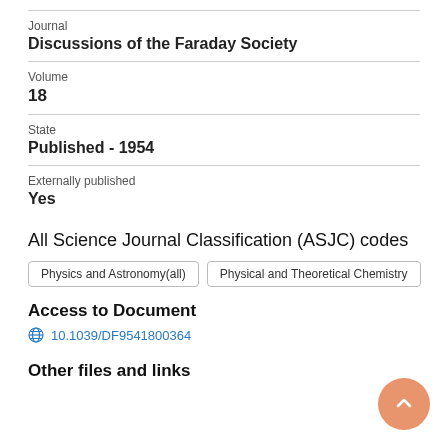Journal
Discussions of the Faraday Society
Volume
18
State
Published - 1954
Externally published
Yes
All Science Journal Classification (ASJC) codes
Physics and Astronomy(all)
Physical and Theoretical Chemistry
Access to Document
10.1039/DF9541800364
Other files and links